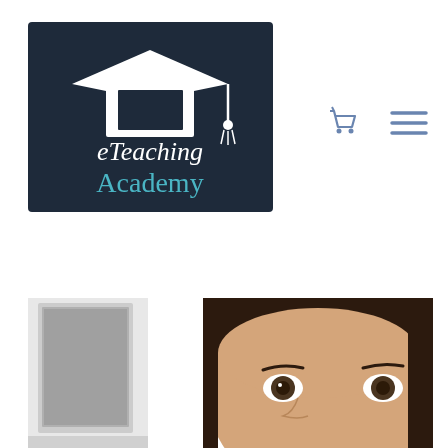[Figure (logo): eTeaching Academy logo: dark navy background with white graduation cap icon above text 'eTeaching' in white and 'Academy' in teal/blue]
[Figure (other): Navigation icons: shopping cart icon and hamburger menu icon in steel blue]
[Figure (photo): Photo of a young boy looking at a laptop screen, cropped showing his face and upper body against white background]